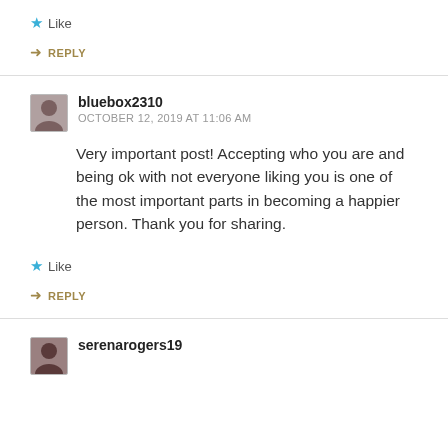Like
REPLY
bluebox2310
OCTOBER 12, 2019 AT 11:06 AM
Very important post! Accepting who you are and being ok with not everyone liking you is one of the most important parts in becoming a happier person. Thank you for sharing.
Like
REPLY
serenarogers19